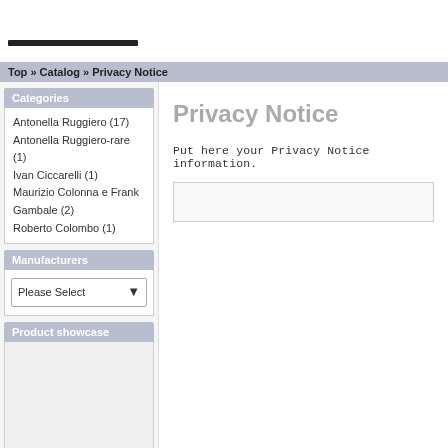Top » Catalog » Privacy Notice
Categories
Antonella Ruggiero (17)
Antonella Ruggiero-rare (1)
Ivan Ciccarelli (1)
Maurizio Colonna e Frank Gambale (2)
Roberto Colombo (1)
Manufacturers
Please Select
Product showcase
Privacy Notice
Put here your Privacy Notice information.